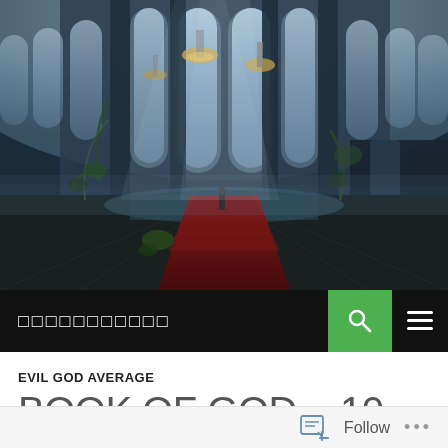[Figure (photo): Interior of a grand gothic cathedral-like hall with tall arched stained glass windows, stone columns, hanging chandeliers, overgrown vegetation, and a lone figure standing on a red carpet path. Dark, atmospheric fantasy game screenshot.]
□□□□□□□□□□□
EVIL GOD AVERAGE
BOOK OF GOD – 10
⊙ SEP 1, 2015  ♣ ESTELULU  ♦ 109 COMMENTS
Follow  ...